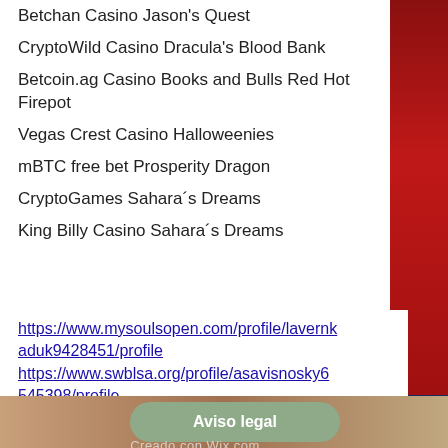Betchan Casino Jason's Quest
CryptoWild Casino Dracula's Blood Bank
Betcoin.ag Casino Books and Bulls Red Hot Firepot
Vegas Crest Casino Halloweenies
mBTC free bet Prosperity Dragon
CryptoGames Sahara´s Dreams
King Billy Casino Sahara´s Dreams
https://www.mysoulsopen.com/profile/lavernkaduk9428451/profile
https://www.swblsa.org/profile/asavisnosky6545398/profile
https://www.delaneyskitchen.co.uk/profile/shelbarevette9848347/profile
https://www.tharunraj.com/profile/reidkoelbel5244741/profile
Aviso legal
Creado con Wix.com